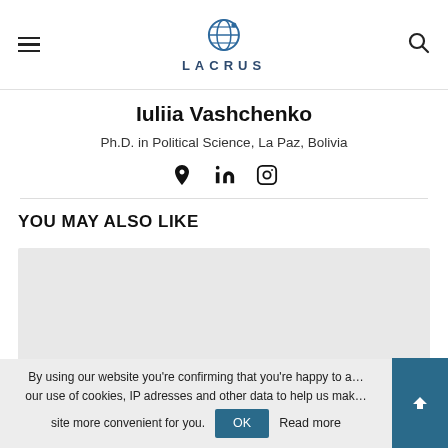LACRUS
Iuliia Vashchenko
Ph.D. in Political Science, La Paz, Bolivia
[Figure (illustration): Social media icons: globe/location pin, LinkedIn, Instagram]
YOU MAY ALSO LIKE
[Figure (photo): Gray placeholder image area for a related article card]
By using our website you're confirming that you're happy to accept our use of cookies, IP adresses and other data to help us make site more convenient for you.
OK  Read more